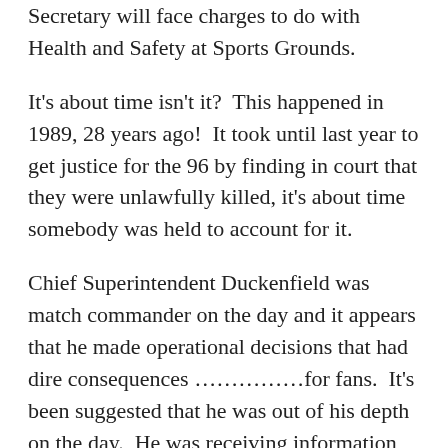Secretary will face charges to do with Health and Safety at Sports Grounds.
It's about time isn't it?  This happened in 1989, 28 years ago!  It took until last year to get justice for the 96 by finding in court that they were unlawfully killed, it's about time somebody was held to account for it.
Chief Superintendent Duckenfield was match commander on the day and it appears that he made operational decisions that had dire consequences ……………for fans.  It's been suggested that he was out of his depth on the day.  He was receiving information and advice from around him that he didn't process well, he could see the tragedy unfolding in front of him on CCTV.  But if your pre-conceived idea is that football fans are all troublemakers, they must be to blame for what was happening and had to be controlled rather